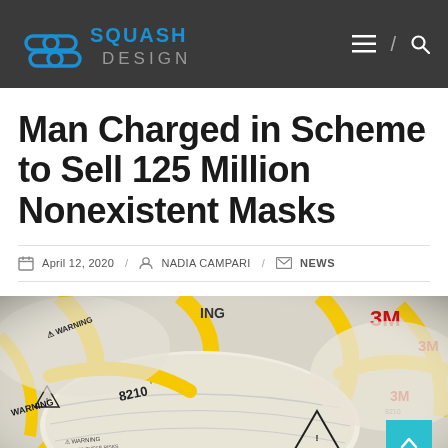Squash Design
Man Charged in Scheme to Sell 125 Million Nonexistent Masks
April 12, 2020 / NADIA CAMPARI / NEWS
[Figure (photo): 3M N95 respirator masks with yellow straps piled together, showing WARNING labels and model number 8210]